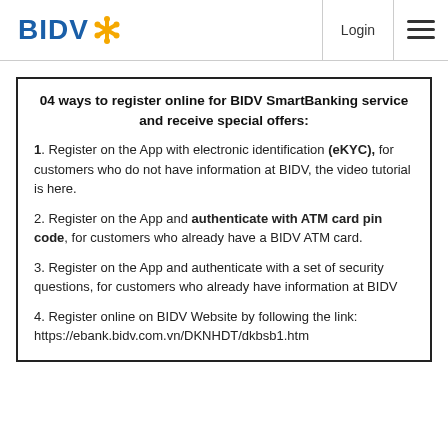BIDV | Login | Menu
04 ways to register online for BIDV SmartBanking service and receive special offers:
1. Register on the App with electronic identification (eKYC), for customers who do not have information at BIDV, the video tutorial is here.
2. Register on the App and authenticate with ATM card pin code, for customers who already have a BIDV ATM card.
3. Register on the App and authenticate with a set of security questions, for customers who already have information at BIDV
4. Register online on BIDV Website by following the link: https://ebank.bidv.com.vn/DKNHDT/dkbsb1.htm